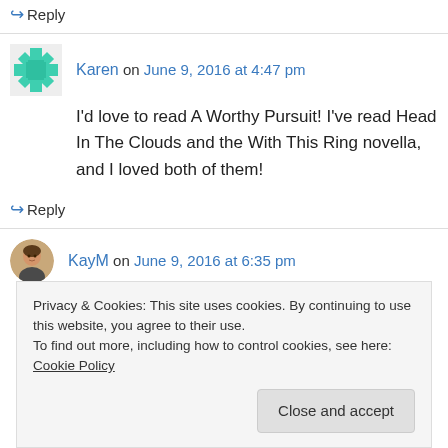↪ Reply
Karen on June 9, 2016 at 4:47 pm
I'd love to read A Worthy Pursuit! I've read Head In The Clouds and the With This Ring novella, and I loved both of them!
↪ Reply
KayM on June 9, 2016 at 6:35 pm
Privacy & Cookies: This site uses cookies. By continuing to use this website, you agree to their use. To find out more, including how to control cookies, see here: Cookie Policy
Close and accept